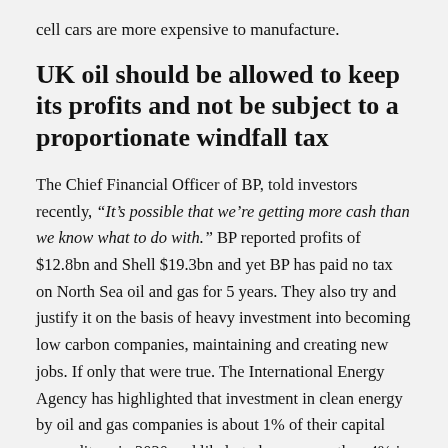cell cars are more expensive to manufacture.
UK oil should be allowed to keep its profits and not be subject to a proportionate windfall tax
The Chief Financial Officer of BP, told investors recently, “It’s possible that we’re getting more cash than we know what to do with.” BP reported profits of $12.8bn and Shell $19.3bn and yet BP has paid no tax on North Sea oil and gas for 5 years. They also try and justify it on the basis of heavy investment into becoming low carbon companies, maintaining and creating new jobs. If only that were true. The International Energy Agency has highlighted that investment in clean energy by oil and gas companies is about 1% of their capital expenditure in 2020 and likely to be no more than 4% in 2021. The